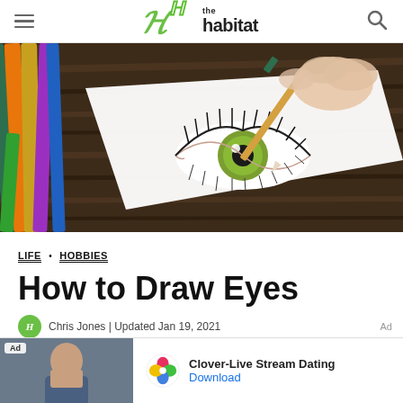the habitat
[Figure (photo): A hand holding a pencil drawing a detailed realistic eye with colored pencils on a white sheet of paper, resting on a wooden surface with colored pencils visible on the left.]
LIFE • HOBBIES
How to Draw Eyes
Chris Jones | Updated Jan 19, 2021
[Figure (other): Advertisement banner for Clover-Live Stream Dating app with a photo of a woman and the Clover clover-leaf logo icon, with a Download link.]